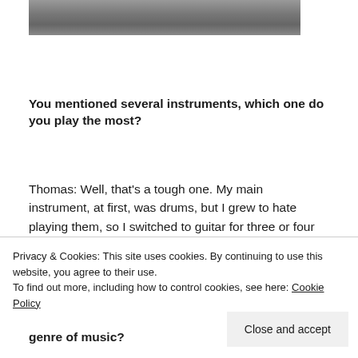[Figure (photo): Partial view of a black and white photograph, showing clothing/fabric texture at the bottom edge of the frame.]
You mentioned several instruments, which one do you play the most?
Thomas: Well, that’s a tough one. My main instrument, at first, was drums, but I grew to hate playing them, so I switched to guitar for three or four years. Right
Privacy & Cookies: This site uses cookies. By continuing to use this website, you agree to their use.
To find out more, including how to control cookies, see here: Cookie Policy
Close and accept
genre of music?